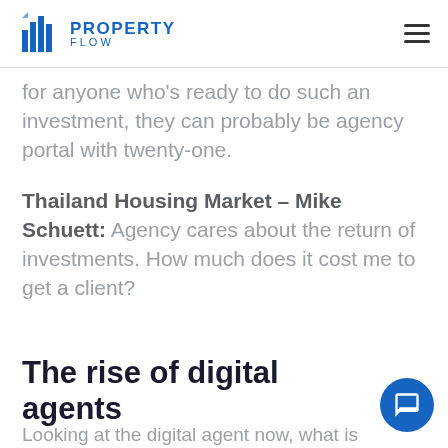Property Flow
for anyone who's ready to do such an investment, they can probably be agency portal with twenty-one.
Thailand Housing Market – Mike Schuett: Agency cares about the return of investments. How much does it cost me to get a client?
The rise of digital agents
Looking at the digital agent now, what is